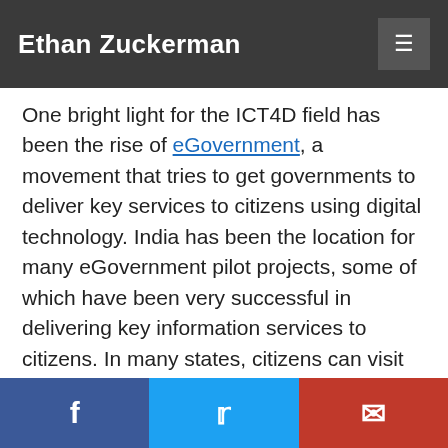Ethan Zuckerman
One bright light for the ICT4D field has been the rise of eGovernment, a movement that tries to get governments to deliver key services to citizens using digital technology. India has been the location for many eGovernment pilot projects, some of which have been very successful in delivering key information services to citizens. In many states, citizens can visit information centers where they can obtain driver’s licenses, business licenses, residency or birth certificates, and other critical documents.
Jennifer Bussell, a political scientist who recently completed a PhD at UC Berkeley, has spent a great deal of time studying these projects and asks a tricky and important question about eGovernment in India—why do
f    ✉